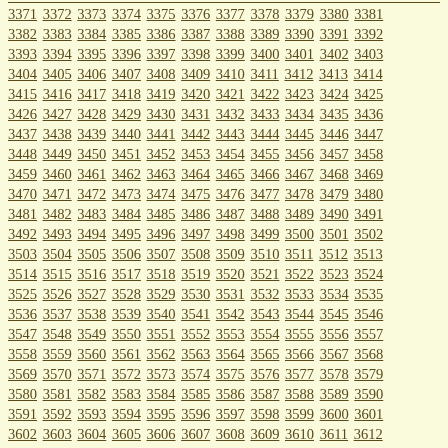3371 3372 3373 3374 3375 3376 3377 3378 3379 3380 3381 3382 3383 3384 3385 3386 3387 3388 3389 3390 3391 3392 3393 3394 3395 3396 3397 3398 3399 3400 3401 3402 3403 3404 3405 3406 3407 3408 3409 3410 3411 3412 3413 3414 3415 3416 3417 3418 3419 3420 3421 3422 3423 3424 3425 3426 3427 3428 3429 3430 3431 3432 3433 3434 3435 3436 3437 3438 3439 3440 3441 3442 3443 3444 3445 3446 3447 3448 3449 3450 3451 3452 3453 3454 3455 3456 3457 3458 3459 3460 3461 3462 3463 3464 3465 3466 3467 3468 3469 3470 3471 3472 3473 3474 3475 3476 3477 3478 3479 3480 3481 3482 3483 3484 3485 3486 3487 3488 3489 3490 3491 3492 3493 3494 3495 3496 3497 3498 3499 3500 3501 3502 3503 3504 3505 3506 3507 3508 3509 3510 3511 3512 3513 3514 3515 3516 3517 3518 3519 3520 3521 3522 3523 3524 3525 3526 3527 3528 3529 3530 3531 3532 3533 3534 3535 3536 3537 3538 3539 3540 3541 3542 3543 3544 3545 3546 3547 3548 3549 3550 3551 3552 3553 3554 3555 3556 3557 3558 3559 3560 3561 3562 3563 3564 3565 3566 3567 3568 3569 3570 3571 3572 3573 3574 3575 3576 3577 3578 3579 3580 3581 3582 3583 3584 3585 3586 3587 3588 3589 3590 3591 3592 3593 3594 3595 3596 3597 3598 3599 3600 3601 3602 3603 3604 3605 3606 3607 3608 3609 3610 3611 3612 3613 3614 3615 3616 3617 3618 3619 3620 3621 3622 3623 3624 3625 3626 3627 3628 3629 3630 3631 3632 3633 3634 3635 3636 3637 3638 3639 3640 3641 3642 3643 3644 3645